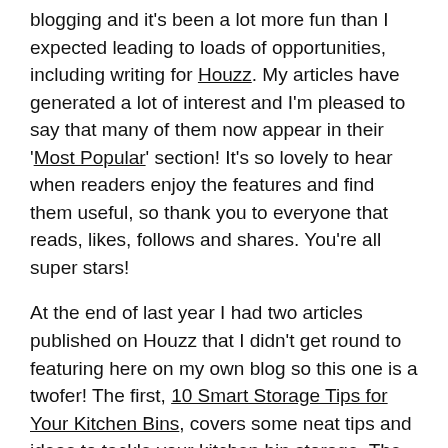blogging and it's been a lot more fun than I expected leading to loads of opportunities, including writing for Houzz. My articles have generated a lot of interest and I'm pleased to say that many of them now appear in their 'Most Popular' section! It's so lovely to hear when readers enjoy the features and find them useful, so thank you to everyone that reads, likes, follows and shares. You're all super stars!
At the end of last year I had two articles published on Houzz that I didn't get round to featuring here on my own blog so this one is a twofer! The first, 10 Smart Storage Tips for Your Kitchen Bins, covers some neat tips and ideas to tackle your kitchen bin storage. The second is 10 Smart and Stylish Ways to Store Your Laundry Baskets, which looks at a variety of different ways and locations to store your laundry baskets.
Continue reading